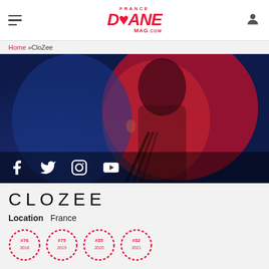FRANCE DJANE MAG.COM
Home »CloZee
[Figure (photo): Photo of CloZee (DJ/artist) illuminated by red lighting against a blue background, with social media icons (Facebook, Twitter, Instagram, YouTube) overlaid at the bottom]
CLOZEE
Location   France
[Figure (infographic): Four circular ranking badges: #76 (2018), #75 (2019), #35 (2020), #32 (2021)]